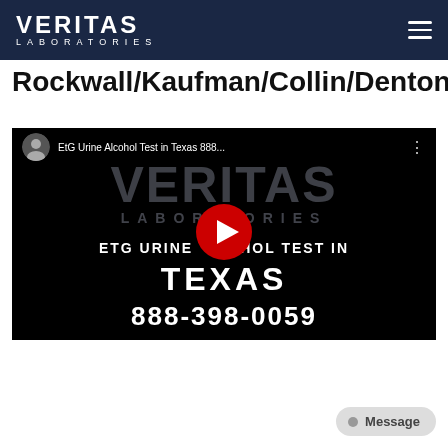VERITAS LABORATORIES
Rockwall/Kaufman/Collin/Denton
[Figure (screenshot): YouTube video thumbnail for 'EtG Urine Alcohol Test in Texas 888...' showing Veritas Laboratories branding, ETG URINE ALCOHOL TEST IN TEXAS text, and phone number 888-398-0059 with a YouTube play button overlay]
Message